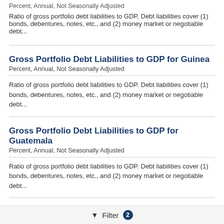Percent, Annual, Not Seasonally Adjusted
Ratio of gross portfolio debt liabilities to GDP. Debt liabilities cover (1) bonds, debentures, notes, etc., and (2) money market or negotiable debt...
Gross Portfolio Debt Liabilities to GDP for Guinea
Percent, Annual, Not Seasonally Adjusted
Ratio of gross portfolio debt liabilities to GDP. Debt liabilities cover (1) bonds, debentures, notes, etc., and (2) money market or negotiable debt...
Gross Portfolio Debt Liabilities to GDP for Guatemala
Percent, Annual, Not Seasonally Adjusted
Ratio of gross portfolio debt liabilities to GDP. Debt liabilities cover (1) bonds, debentures, notes, etc., and (2) money market or negotiable debt...
Gross Portfolio Debt Liabilities to GDP for Honduras
Percent, Annual, Not Seasonally Adjusted
Filter 2